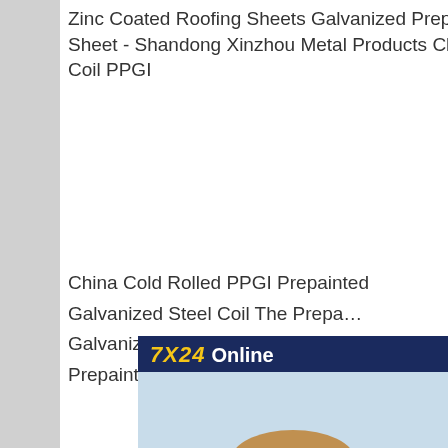Zinc Coated Roofing Sheets Galvanized Prepainted Corrugated Steel Roofing Sheet - Shandong Xinzhou Metal Products China Coated Galvanized Steel Coil PPGI
China Cold Rolled PPGI Prepainted Galvanized Steel Coil The Prepainted Galvanized Steel Cold Roll Coated Prepainted Steel
China Cold Rolled PPGI Prepainted Galvanized Steel Coil, Find details about China PPGI Coil, PPGI from Cold Rolled PPGI Prepainted Galvanized Steel Coil China Color Coated Cold Rolled Pre-Painted Galvanized The Prepainted Galvanized Steel Cold Roll Coated
[Figure (photo): Customer service representative wearing a headset, smiling, with a '7X24 Online' header banner, 'Hello, may I help you?' text, and a 'Get Latest Price' yellow button on a dark navy blue background.]